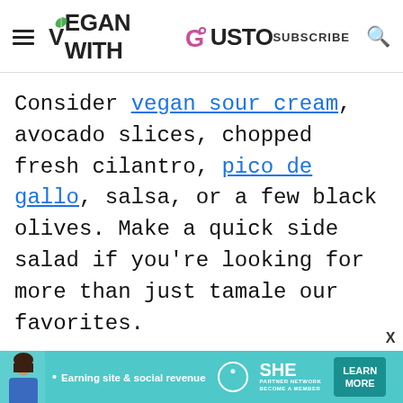Vegan With Gusto — SUBSCRIBE
Consider vegan sour cream, avocado slices, chopped fresh cilantro, pico de gallo, salsa, or a few black olives. Make a quick side salad if you're looking for more than just tamale our favorites.
[Figure (infographic): SHE Partner Network advertisement banner with photo of woman, text 'Earning site & social revenue', SHE logo, and 'LEARN MORE' button]